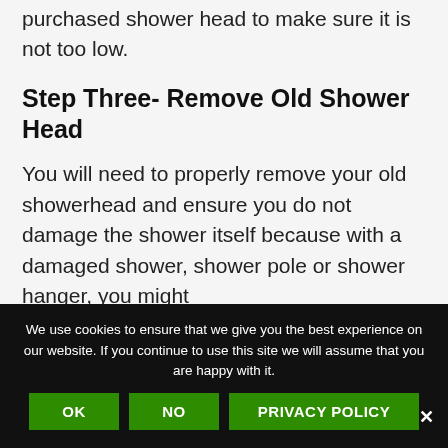purchased shower head to make sure it is not too low.
Step Three- Remove Old Shower Head
You will need to properly remove your old showerhead and ensure you do not damage the shower itself because with a damaged shower, shower pole or shower hanger, you might
We use cookies to ensure that we give you the best experience on our website. If you continue to use this site we will assume that you are happy with it.